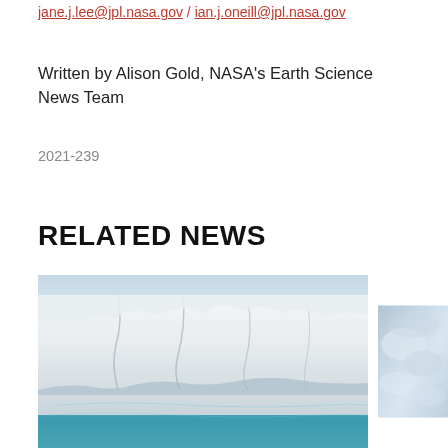jane.j.lee@jpl.nasa.gov / ian.j.oneill@jpl.nasa.gov
Written by Alison Gold, NASA's Earth Science News Team
2021-239
RELATED NEWS
[Figure (photo): Aerial view of a glacier or ice shelf with blue-green water below and massive white ice formations]
[Figure (photo): Partially visible photo showing clouds or mist, likely another NASA Earth science related image]